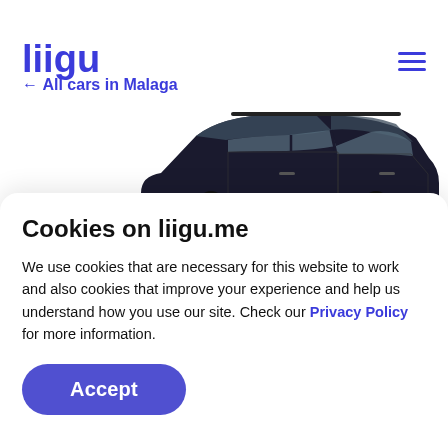liigu
← All cars in Malaga
[Figure (photo): Partial view of a dark SUV/wagon car, showing roof, windows, and side profile, center-right of the image]
Cookies on liigu.me
We use cookies that are necessary for this website to work and also cookies that improve your experience and help us understand how you use our site. Check our Privacy Policy for more information.
Accept